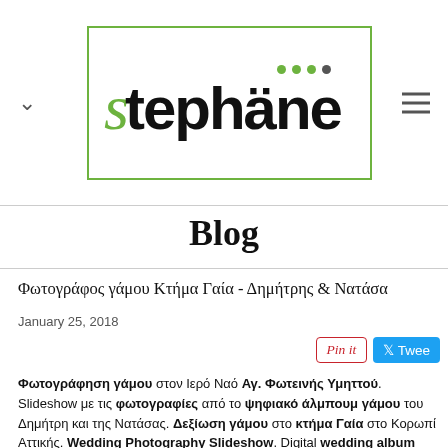[Figure (logo): Stephane wedding photography logo with green S and dots, bordered box with green outline]
Blog
Φωτογράφος γάμου Κτήμα Γαία - Δημήτρης & Νατάσα
January 25, 2018
Φωτογράφηση γάμου στον Ιερό Ναό Αγ. Φωτεινής Υμηττού. Slideshow με τις φωτογραφίες από το ψηφιακό άλμπουμ γάμου του Δημήτρη και της Νατάσας. Δεξίωση γάμου στο κτήμα Γαία στο Κορωπί Αττικής. Wedding Photography Slideshow. Digital wedding album photographs. Destination wedding in Greece. Wedding reception at Ktima Gaia. Stephane Wedding and Portrait Studio Athens Greece.